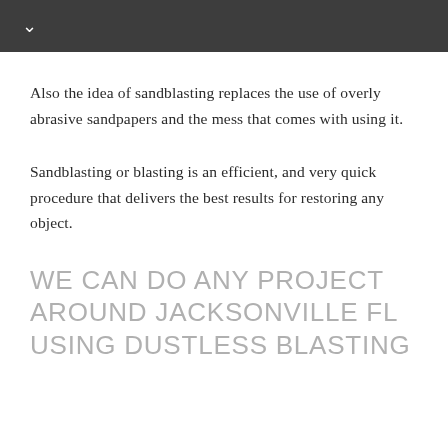Also the idea of sandblasting replaces the use of overly abrasive sandpapers and the mess that comes with using it.
Sandblasting or blasting is an efficient, and very quick procedure that delivers the best results for restoring any object.
WE CAN DO ANY PROJECT AROUND JACKSONVILLE FL USING DUSTLESS BLASTING